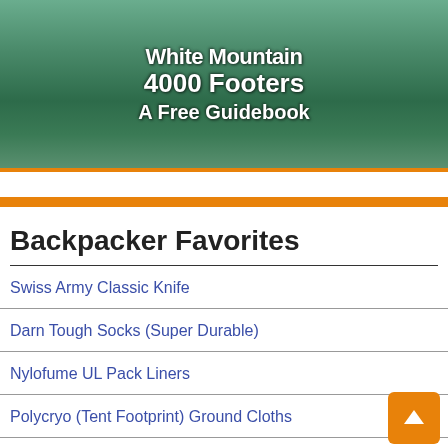[Figure (illustration): Banner image for a guidebook about White Mountain 4000 Footers. Shows a mountain landscape with text overlay: 'White Mountain 4000 Footers A Free Guidebook']
Backpacker Favorites
Swiss Army Classic Knife
Darn Tough Socks (Super Durable)
Nylofume UL Pack Liners
Polycryo (Tent Footprint) Ground Cloths
Leukotape (Sticky Anti-Blister Tape)